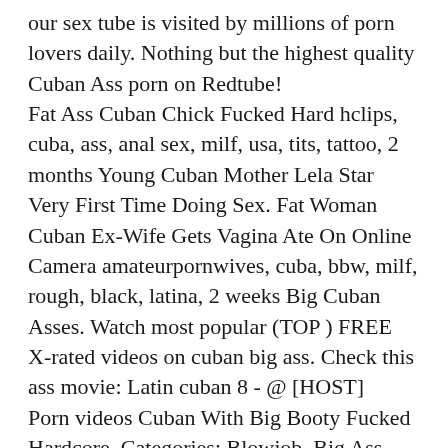our sex tube is visited by millions of porn lovers daily. Nothing but the highest quality Cuban Ass porn on Redtube! Fat Ass Cuban Chick Fucked Hard hclips, cuba, ass, anal sex, milf, usa, tits, tattoo, 2 months Young Cuban Mother Lela Star Very First Time Doing Sex. Fat Woman Cuban Ex-Wife Gets Vagina Ate On Online Camera amateurpornwives, cuba, bbw, milf, rough, black, latina, 2 weeks Big Cuban Asses. Watch most popular (TOP ) FREE X-rated videos on cuban big ass. Check this ass movie: Latin cuban 8 - @ [HOST] Porn videos Cuban With Big Booty Fucked Hardcore. Categories: Blowjob, Big Ass, Chubby, Milf, Natural, Big Cock, Brunettes, Latina, Old And Teen, Hardcore.